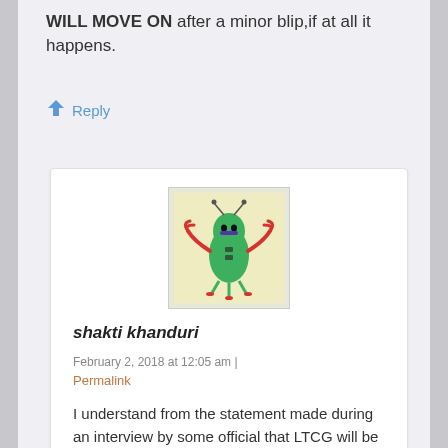WILL MOVE ON after a minor blip,if at all it happens.
Reply
[Figure (illustration): Avatar image of a cartoon green alien/bug character with red claws/antlers on a light yellow background]
shakti khanduri
February 2, 2018 at 12:05 am |
Permalink
I understand from the statement made during an interview by some official that LTCG will be under taxation upto a certain period after that it will be exempted.
Reply